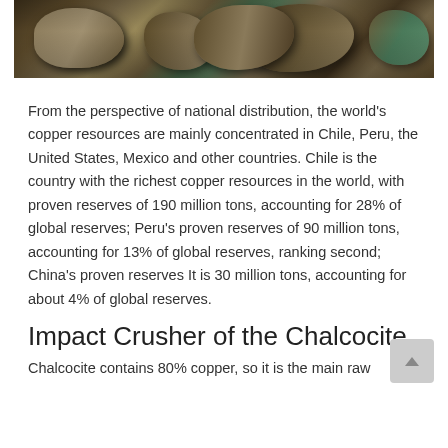[Figure (photo): Close-up photograph of rocky copper ore minerals with greenish and brownish coloration]
From the perspective of national distribution, the world's copper resources are mainly concentrated in Chile, Peru, the United States, Mexico and other countries. Chile is the country with the richest copper resources in the world, with proven reserves of 190 million tons, accounting for 28% of global reserves; Peru's proven reserves of 90 million tons, accounting for 13% of global reserves, ranking second; China's proven reserves It is 30 million tons, accounting for about 4% of global reserves.
Impact Crusher of the Chalcocite
Chalcocite contains 80% copper, so it is the main raw